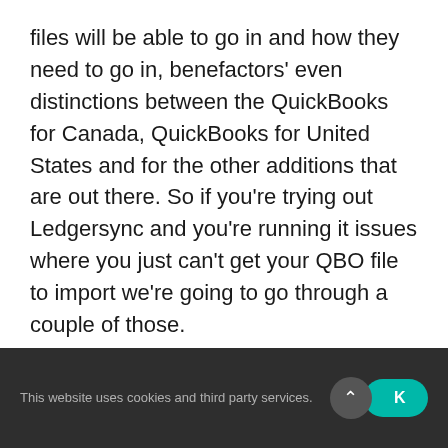files will be able to go in and how they need to go in, benefactors' even distinctions between the QuickBooks for Canada, QuickBooks for United States and for the other additions that are out there. So if you're trying out Ledgersync and you're running it issues where you just can't get your QBO file to import we're going to go through a couple of those.
[01:00]
Let's start off by going to Ledgersync's the
This website uses cookies and third party services.